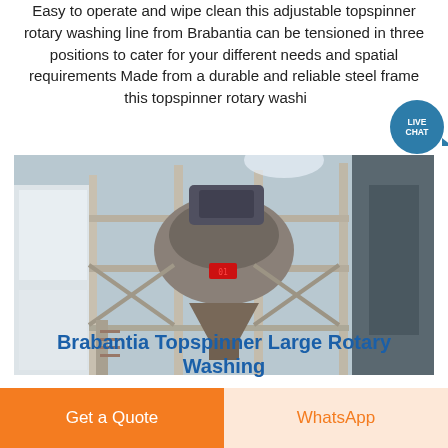Easy to operate and wipe clean this adjustable topspinner rotary washing line from Brabantia can be tensioned in three positions to cater for your different needs and spatial requirements Made from a durable and reliable steel frame this topspinner rotary washing line comes complete with a 5...
[Figure (photo): Industrial large-scale machinery, appears to be a mining or processing plant cone crusher or similar equipment mounted on a tall steel scaffold frame structure inside an industrial building.]
Brabantia Topspinner Large Rotary Washing
Get a Quote
WhatsApp